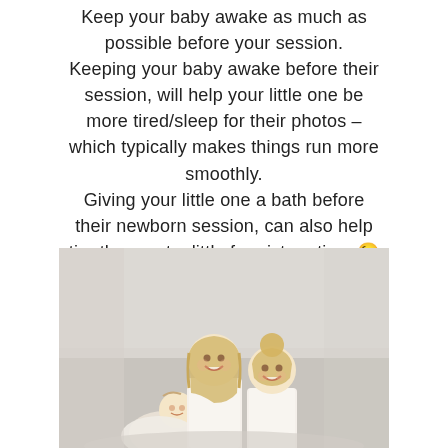Keep your baby awake as much as possible before your session. Keeping your baby awake before their session, will help your little one be more tired/sleep for their photos – which typically makes things run more smoothly. Giving your little one a bath before their newborn session, can also help tire them out a little for picture time 😉
[Figure (photo): Two smiling young blonde girls in white dresses sitting together with a newborn baby in front of them, photographed in a bright, light-toned studio setting]